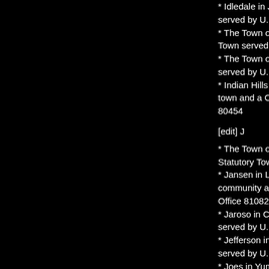* Idledale in Jefferson County, Colorado, is an unincorporated community served by U.S. Post Office 80453
* The Town of Ignacio in La Plata County, Colorado, is a Statutory Town served by U.S. Post Office 81137
* The Town of Iliff in Logan County, Colorado, is a Statutory Town served by U.S. Post Office 80736
* Indian Hills in Jefferson County, Colorado, is an unincorporated town and a Census Designated Place served by U.S. Post Office 80454
[edit] J
* The Town of Jamestown in Boulder County, Colorado, is a Statutory Town served by U.S. Post Office 80455
* Jansen in Las Animas County, Colorado, is an unincorporated community and a postal address served by the Trinidad Post Office 81082
* Jaroso in Costilla County, Colorado, is an unincorporated community served by U.S. Post Office 81138
* Jefferson in Park County, Colorado, is an unincorporated community served by U.S. Post Office 80456
* Joes in Yuma County, Colorado, is an unincorporated community served by U.S. Post Office 80822
* The Town of Johnstown in Weld County & Larimer County, Colorado, is a Home Rule Municipality served by U.S. Post Office 80534
* The Town of Julesburg in Sedgwick County, Colorado, is a Statutory Town served by U.S. Post Office 80737
[edit] K